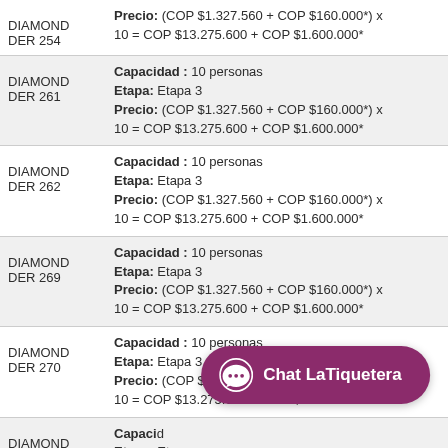| Code | Details |
| --- | --- |
| DIAMOND DER 254 | Precio: (COP $1.327.560 + COP $160.000*) x 10 = COP $13.275.600 + COP $1.600.000* |
| DIAMOND DER 261 | Capacidad : 10 personas
Etapa: Etapa 3
Precio: (COP $1.327.560 + COP $160.000*) x 10 = COP $13.275.600 + COP $1.600.000* |
| DIAMOND DER 262 | Capacidad : 10 personas
Etapa: Etapa 3
Precio: (COP $1.327.560 + COP $160.000*) x 10 = COP $13.275.600 + COP $1.600.000* |
| DIAMOND DER 269 | Capacidad : 10 personas
Etapa: Etapa 3
Precio: (COP $1.327.560 + COP $160.000*) x 10 = COP $13.275.600 + COP $1.600.000* |
| DIAMOND DER 270 | Capacidad : 10 personas
Etapa: Etapa 3
Precio: (COP $1.327.560 + COP $160.000*) x 10 = COP $13.275.600 + COP $1.600.000* |
| DIAMOND DER 277 | Capacidad : 10 personas
Etapa: Etapa...
Precio: (COP $1.327.560 + COP $160.000*) x 10 = COP $13.275.600 + COP $1.600.000* |